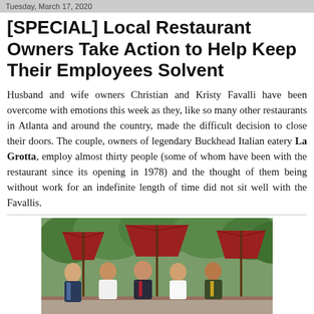Tuesday, March 17, 2020
[SPECIAL] Local Restaurant Owners Take Action to Help Keep Their Employees Solvent
Husband and wife owners Christian and Kristy Favalli have been overcome with emotions this week as they, like so many other restaurants in Atlanta and around the country, made the difficult decision to close their doors. The couple, owners of legendary Buckhead Italian eatery La Grotta, employ almost thirty people (some of whom have been with the restaurant since its opening in 1978) and the thought of them being without work for an indefinite length of time did not sit well with the Favallis.
[Figure (photo): Group photo of five people standing outdoors at a restaurant patio with large red umbrellas and green trees in the background.]